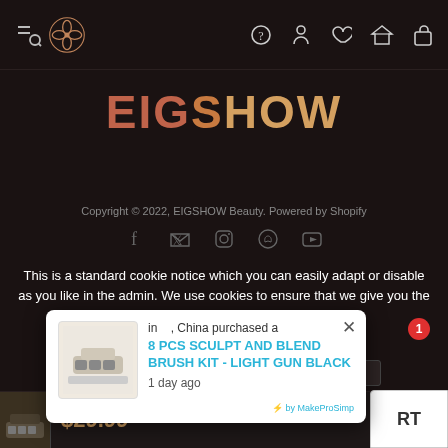[Figure (screenshot): Navigation bar with hamburger/search icon, decorative flower logo, and right-side icons for help, account, wishlist, compare, and cart]
[Figure (logo): EIGSHOW brand text logo in orange/gold coloring on dark background]
Copyright © 2022, EIGSHOW Beauty. Powered by Shopify
[Figure (infographic): Social media icons row: Facebook, Twitter, Instagram, Pinterest, YouTube]
This is a standard cookie notice which you can easily adapt or disable as you like in the admin. We use cookies to ensure that we give you the best experience on our website.
[Figure (infographic): Payment method icons: Mastercard, Visa, Amex, JCB, and others]
PRIVACY POLICY   ACCEPT
[Figure (infographic): Popup notification: 'in , China purchased a 8 PCS SCULPT AND BLEND BRUSH KIT - LIGHT GUN BLACK 1 day ago' with product image and MakeProSimp branding]
[Figure (screenshot): Bottom product strip showing product image and price $29.99 with cart button]